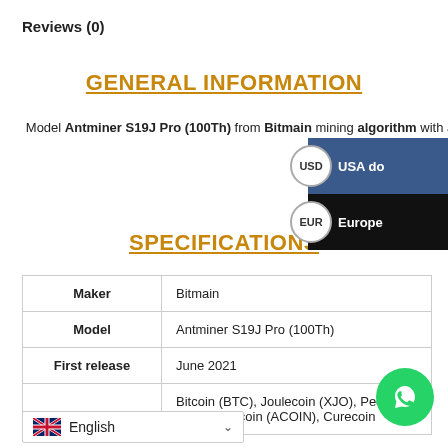Reviews (0)
GENERAL INFORMATION
Model Antminer S19J Pro (100Th) from Bitmain mining algorithm with a maximum hashrate of 100th / s for an energy consumption of 3050W.
SPECIFICATIONS
|  |  |
| --- | --- |
| Maker | Bitmain |
| Model | Antminer S19J Pro (100Th) |
| First release | June 2021 |
|  | Bitcoin (BTC), Joulecoin (XJO), Peercoin, k (DEM), Acoin (ACOIN), Curecoin |